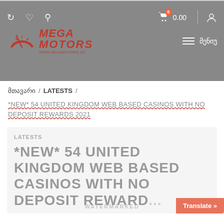[Figure (screenshot): Mega Motors website header with logo, navigation icons, cart, and hamburger menu on grey background]
მთავარი / LATESTS /
*NEW* 54 UNITED KINGDOM WEB BASED CASINOS WITH NO DEPOSIT REWARDS 2021
LATESTS
*NEW* 54 UNITED KINGDOM WEB BASED CASINOS WITH NO DEPOSIT REWARD...